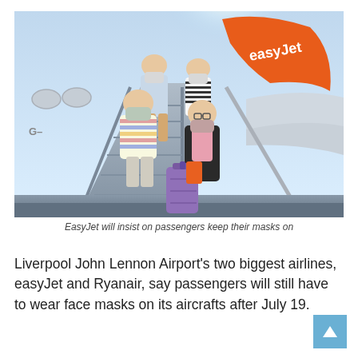[Figure (photo): A family of four wearing face masks walking down the steps of an easyJet aircraft. Two adults and two children, with a purple suitcase. The orange easyJet tail fin is prominent in the background against a bright blue sky.]
EasyJet will insist on passengers keep their masks on
Liverpool John Lennon Airport's two biggest airlines, easyJet and Ryanair, say passengers will still have to wear face masks on its aircrafts after July 19.